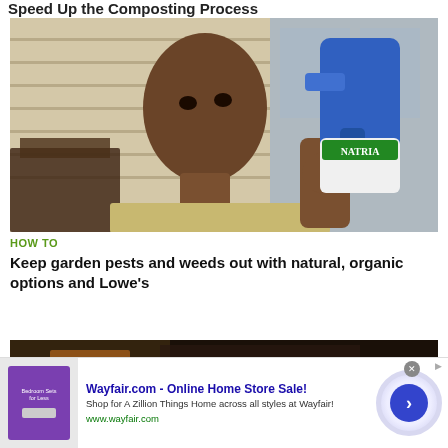Speed Up the Composting Process
[Figure (photo): Woman holding a Natria spray bottle outdoors near patio furniture and house siding]
HOW TO
Keep garden pests and weeds out with natural, organic options and Lowe's
[Figure (photo): Partially visible second article thumbnail image with dark outdoor scene]
Wayfair.com - Online Home Store Sale!
Shop for A Zillion Things Home across all styles at Wayfair!
www.wayfair.com